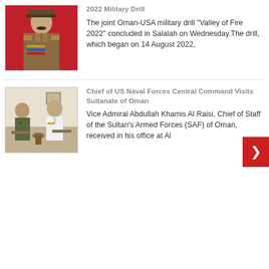[Figure (photo): Military officer in uniform with red background, wearing medals and insignia]
2022 Military Drill
The joint Oman-USA military drill "Valley of Fire 2022" concluded in Salalah on Wednesday.The drill, which began on 14 August 2022,
[Figure (photo): Two military officers seated in chairs, one in camouflage uniform and one in white naval uniform, in an office setting]
Chief of US Naval Forces Central Command Visits Sultanate of Oman
Vice Admiral Abdullah Khamis Al Raisi, Chief of Staff of the Sultan's Armed Forces (SAF) of Oman, received in his office at Al